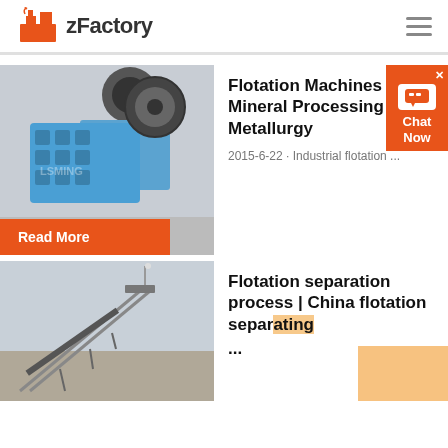zFactory
[Figure (photo): Blue jaw crusher machine in industrial factory setting, with LSMING watermark]
Flotation Machines - Mineral Processing Metallurgy
2015-6-22 · Industrial flotation ...
Read More
[Figure (photo): Conveyor belt system on hillside, industrial mining equipment]
Flotation separation process | China flotation separating ...